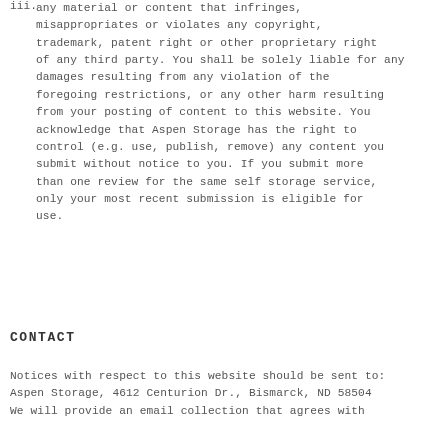iii. any material or content that infringes, misappropriates or violates any copyright, trademark, patent right or other proprietary right of any third party. You shall be solely liable for any damages resulting from any violation of the foregoing restrictions, or any other harm resulting from your posting of content to this website. You acknowledge that Aspen Storage has the right to control (e.g. use, publish, remove) any content you submit without notice to you. If you submit more than one review for the same self storage service, only your most recent submission is eligible for use.
CONTACT
Notices with respect to this website should be sent to: Aspen Storage, 4612 Centurion Dr., Bismarck, ND 58504 We will provide an email collection that agrees with